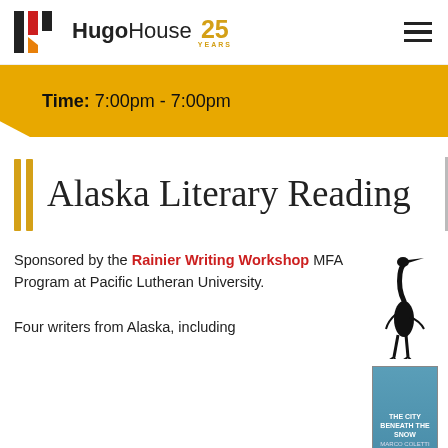Hugo House 25 YEARS
Time: 7:00pm - 7:00pm
Alaska Literary Reading
Sponsored by the Rainier Writing Workshop MFA Program at Pacific Lutheran University.
[Figure (illustration): Black silhouette of a great blue heron standing tall]
[Figure (photo): Book cover: The City Beneath the Snow by Marco Coletti and another dark book cover]
Four writers from Alaska, including